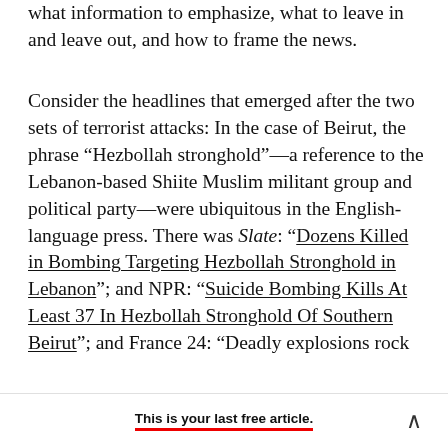what information to emphasize, what to leave in and leave out, and how to frame the news.
Consider the headlines that emerged after the two sets of terrorist attacks: In the case of Beirut, the phrase “Hezbollah stronghold”—a reference to the Lebanon-based Shiite Muslim militant group and political party—were ubiquitous in the English-language press. There was Slate: “Dozens Killed in Bombing Targeting Hezbollah Stronghold in Lebanon”; and NPR: “Suicide Bombing Kills At Least 37 In Hezbollah Stronghold Of Southern Beirut”; and France 24: “Deadly explosions rock
This is your last free article.